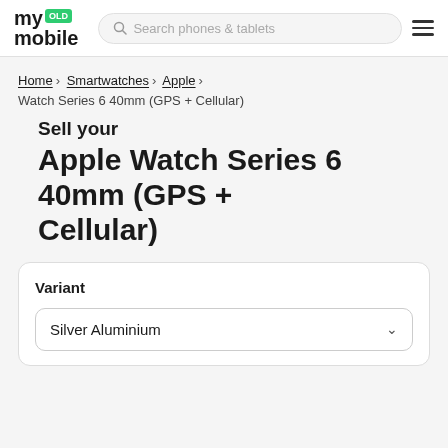my OLD mobile — Search phones & tablets
Home › Smartwatches › Apple › Watch Series 6 40mm (GPS + Cellular)
Sell your Apple Watch Series 6 40mm (GPS + Cellular)
Variant
Silver Aluminium